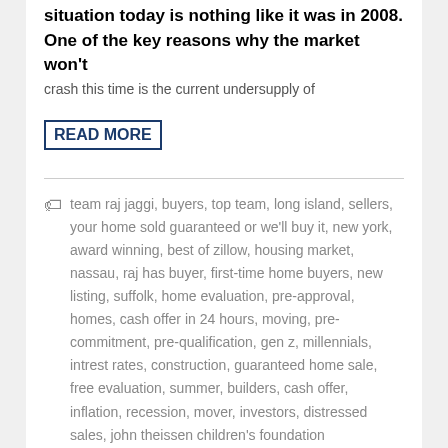situation today is nothing like it was in 2008. One of the key reasons why the market won't crash this time is the current undersupply of
READ MORE
team raj jaggi, buyers, top team, long island, sellers, your home sold guaranteed or we'll buy it, new york, award winning, best of zillow, housing market, nassau, raj has buyer, first-time home buyers, new listing, suffolk, home evaluation, pre-approval, homes, cash offer in 24 hours, moving, pre-commitment, pre-qualification, gen z, millennials, intrest rates, construction, guaranteed home sale, free evaluation, summer, builders, cash offer, inflation, recession, mover, investors, distressed sales, john theissen children's foundation